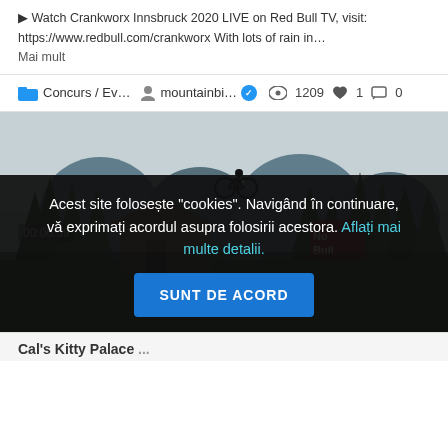▶ Watch Crankworx Innsbruck 2020 LIVE on Red Bull TV, visit: https://www.redbull.com/crankworx With lots of rain in… Mai mult
Concurs / Ev... mountainbi... ✓ 👁 1209 ♥ 1 💬 0
[Figure (screenshot): Video thumbnail showing a mountain biker doing an aerial jump over trees with a dark overlay and cookie consent banner. Timestamp 00:06:59 visible.]
Acest site folosește "cookies". Navigând în continuare, vă exprimați acordul asupra folosirii acestora. Aflați mai multe detalii.
SUNT DE ACORD
Cal's Kitty Palace ...